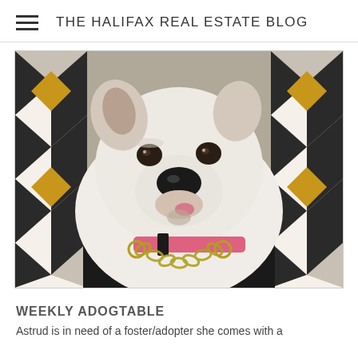THE HALIFAX REAL ESTATE BLOG
[Figure (photo): A white pit bull dog with a black nose wearing a pink collar and a chain leash/collar, sitting on a patterned black, white, and gold geometric fabric/couch. The dog is looking at the camera.]
WEEKLY ADOGTABLE
Astrud is in need of a foster/adopter she comes with a